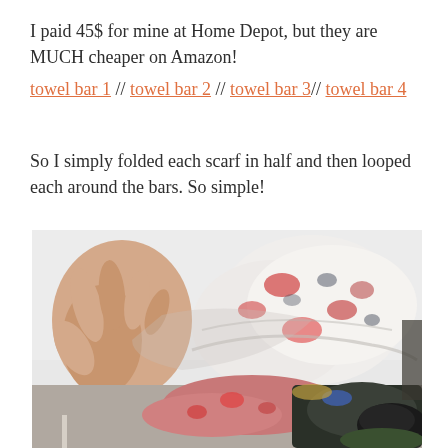I paid 45$ for mine at Home Depot, but they are MUCH cheaper on Amazon!
towel bar 1 // towel bar 2 // towel bar 3// towel bar 4
So I simply folded each scarf in half and then looped each around the bars. So simple!
[Figure (photo): A hand holding and looping a white floral scarf around a bar, with multiple colorful scarves visible in the background on what appears to be a towel bar organizer.]